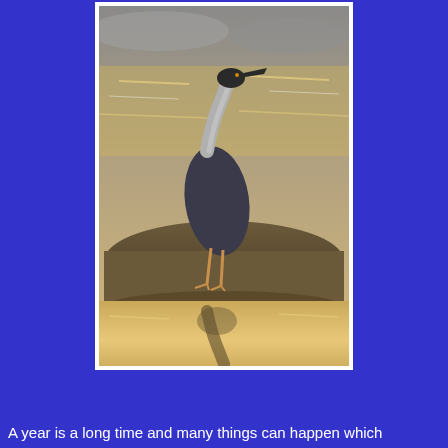[Figure (photo): A heron or similar wading bird standing upright on a muddy bank beside water. The photo is in sepia/monochrome tones. The bird has long thin legs, a long neck extended upward, and a dark cap on its head. Its reflection is visible in the shallow water below. The background shows a body of water with glinting light.]
A year is a long time and many things can happen which